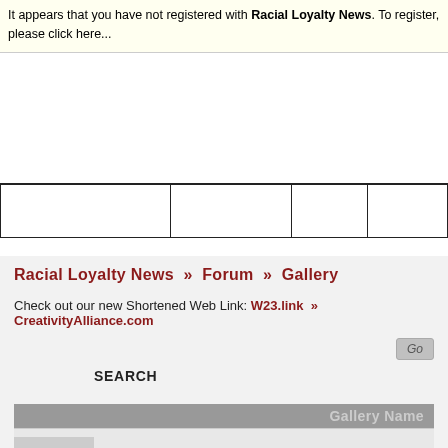It appears that you have not registered with Racial Loyalty News. To register, please click here...
[Figure (other): Advertisement area (blank)]
|  |  |  |  |
| --- | --- | --- | --- |
|  |  |  |  |
Racial Loyalty News » Forum » Gallery
Check out our new Shortened Web Link: W23.link » CreativityAlliance.com
SEARCH
Gallery Name
Your Personal Galleries